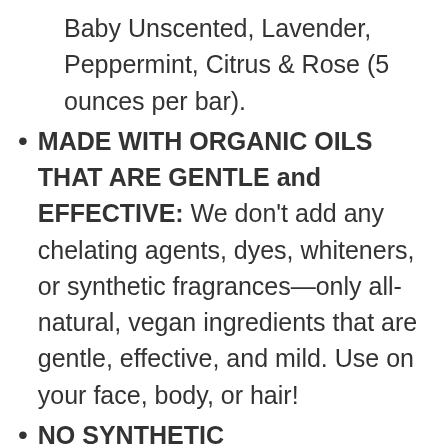Baby Unscented, Lavender, Peppermint, Citrus & Rose (5 ounces per bar).
MADE WITH ORGANIC OILS THAT ARE GENTLE and EFFECTIVE: We don't add any chelating agents, dyes, whiteners, or synthetic fragrances—only all-natural, vegan ingredients that are gentle, effective, and mild. Use on your face, body, or hair!
NO SYNTHETIC PRESERVATIVES, DETERGENTS, OR FOAMING AGENTS: Our Pure-